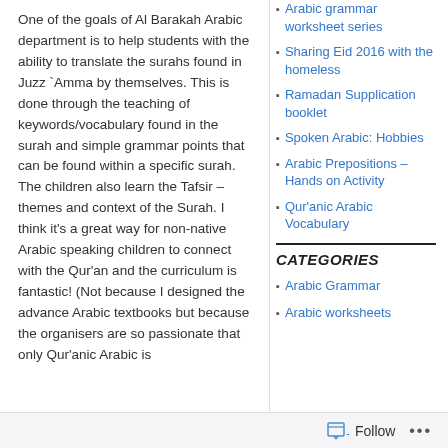One of the goals of Al Barakah Arabic department is to help students with the ability to translate the surahs found in Juzz `Amma by themselves. This is done through the teaching of keywords/vocabulary found in the surah and simple grammar points that can be found within a specific surah. The children also learn the Tafsir – themes and context of the Surah. I think it's a great way for non-native Arabic speaking children to connect with the Qur'an and the curriculum is fantastic! (Not because I designed the advance Arabic textbooks but because the organisers are so passionate that only Qur'anic Arabic is
Arabic grammar worksheet series
Sharing Eid 2016 with the homeless
Ramadan Supplication booklet
Spoken Arabic: Hobbies
Arabic Prepositions – Hands on Activity
Qur'anic Arabic Vocabulary
CATEGORIES
Arabic Grammar
Arabic worksheets